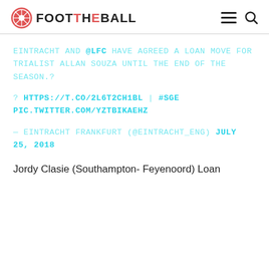FOOT THE BALL
EINTRACHT AND @LFC HAVE AGREED A LOAN MOVE FOR TRIALIST ALLAN SOUZA UNTIL THE END OF THE SEASON.?
? HTTPS://T.CO/2L6T2CH1BL | #SGE PIC.TWITTER.COM/YZTBIKAEHZ
- EINTRACHT FRANKFURT (@EINTRACHT_ENG) JULY 25, 2018
Jordy Clasie (Southampton- Feyenoord) Loan